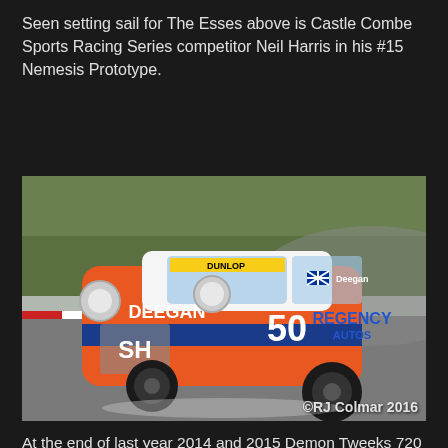Seen setting sail for The Esses above is Castle Combe Sports Racing Series competitor Neil Harris in his #15 Nemesis Prototype.
[Figure (photo): Orange racing Mini with number 50 and 'Deegan' branding with 'REGENCY' sponsor, racing on wet track, photographed by RJ Colmar 2016. The car has Dunlop branding on the windscreen and SH Racing livery.]
At the end of last year 2014 and 2015 Demon Tweeks 720 Stockhatch Championship winner Shayne Deegan switched from his Citroën Saxo to a Mini Miglia run by